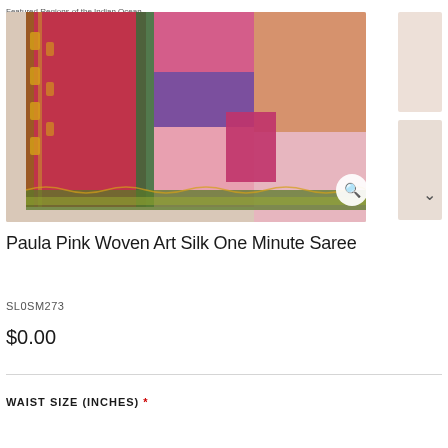Featured Regions of the Indian Ocean
[Figure (photo): A colorful pink, orange, purple and gold woven art silk saree displayed against a beige background. The saree features intricate gold border work and multi-colored patchwork panels.]
Paula Pink Woven Art Silk One Minute Saree
SL0SM273
$0.00
WAIST SIZE (INCHES) *